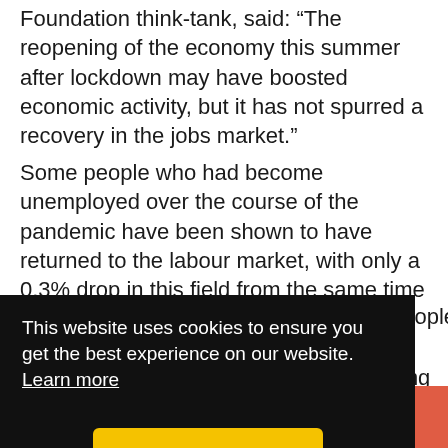Foundation think-tank, said: “The reopening of the economy this summer after lockdown may have boosted economic activity, but it has not spurred a recovery in the jobs market."
Some people who had become unemployed over the course of the pandemic have been shown to have returned to the labour market, with only a 0.3% drop in this field from the same time last year, matching its previous record low.
[Figure (screenshot): Cookie consent banner overlay (black background) reading: 'This website uses cookies to ensure you get the best experience on our website. Learn more' with a yellow 'Got it!' button.]
0 SHARES | Facebook share | Twitter share | LinkedIn share | More